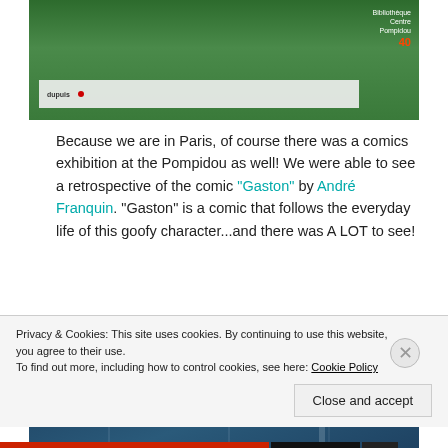[Figure (photo): Photo of a green illustrated comic display board at what appears to be the Pompidou Centre exhibition, showing a Gaston/Dupuis sign at the bottom, with a Bibliothèque Centre Pompidou 40 badge top right]
Because we are in Paris, of course there was a comics exhibition at the Pompidou as well! We were able to see a retrospective of the comic “Gaston” by André Franquin. “Gaston” is a comic that follows the everyday life of this goofy character…and there was A LOT to see!
[Figure (photo): Photo of the interior ceiling of an exhibition space, showing a blue industrial ceiling with lights and structural supports]
Privacy & Cookies: This site uses cookies. By continuing to use this website, you agree to their use.
To find out more, including how to control cookies, see here: Cookie Policy
Close and accept